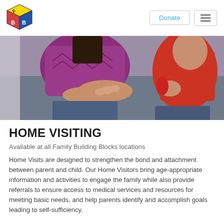Family Building Blocks — Navigation with Donate button and menu
[Figure (photo): A woman in a purple/magenta top and a young child in a red shirt interacting with their hands, appearing to be doing an activity together, close-up shot from above showing hands engaged.]
HOME VISITING
Available at all Family Building Blocks locations
Home Visits are designed to strengthen the bond and attachment between parent and child. Our Home Visitors bring age-appropriate information and activities to engage the family while also provide referrals to ensure access to medical services and resources for meeting basic needs, and help parents identify and accomplish goals leading to self-sufficiency.